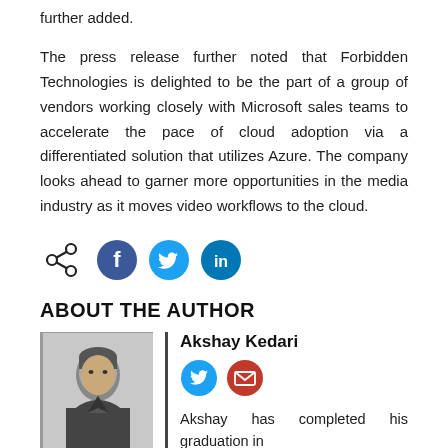further added.
The press release further noted that Forbidden Technologies is delighted to be the part of a group of vendors working closely with Microsoft sales teams to accelerate the pace of cloud adoption via a differentiated solution that utilizes Azure. The company looks ahead to garner more opportunities in the media industry as it moves video workflows to the cloud.
[Figure (infographic): Share icons row: share icon, Facebook circle, Twitter circle, LinkedIn circle]
ABOUT THE AUTHOR
[Figure (photo): Headshot photo of Akshay Kedari, a young man in a dark shirt]
Akshay Kedari
[Figure (infographic): Social icons: Twitter blue circle, Email red circle]
Akshay has completed his graduation in the field of computer engineering and now develops